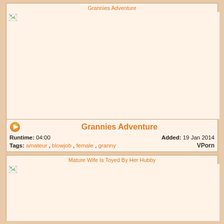[Figure (screenshot): Video thumbnail placeholder for 'Grannies Adventure' with broken image icon and orange title text]
Grannies Adventure
Runtime: 04:00   Added: 19 Jan 2014
Tags: amateur , blowjob , female , granny   VPorn
[Figure (screenshot): Video thumbnail placeholder for 'Mature Wife Is Toyed By Her Hubby' with broken image icon and orange title text]